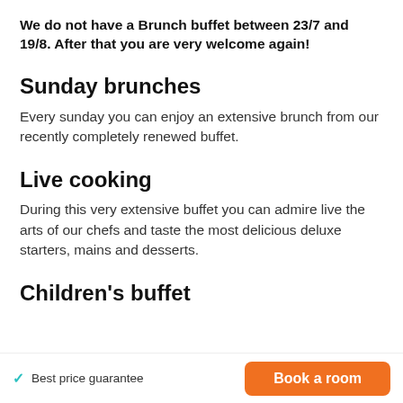We do not have a Brunch buffet between 23/7 and 19/8. After that you are very welcome again!
Sunday brunches
Every sunday you can enjoy an extensive brunch from our recently completely renewed buffet.
Live cooking
During this very extensive buffet you can admire live the arts of our chefs and taste the most delicious deluxe starters, mains and desserts.
Children's buffet
Best price guarantee
Book a room